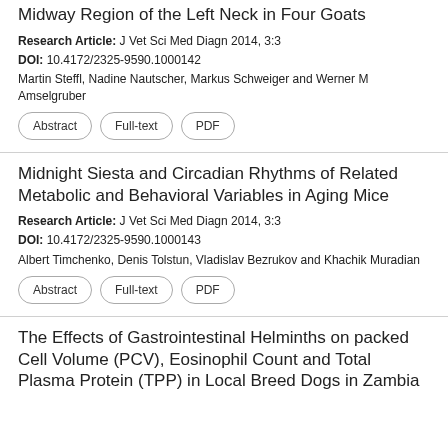Midway Region of the Left Neck in Four Goats
Research Article: J Vet Sci Med Diagn 2014, 3:3
DOI: 10.4172/2325-9590.1000142
Martin Steffl, Nadine Nautscher, Markus Schweiger and Werner M Amselgruber
Abstract | Full-text | PDF
Midnight Siesta and Circadian Rhythms of Related Metabolic and Behavioral Variables in Aging Mice
Research Article: J Vet Sci Med Diagn 2014, 3:3
DOI: 10.4172/2325-9590.1000143
Albert Timchenko, Denis Tolstun, Vladislav Bezrukov and Khachik Muradian
Abstract | Full-text | PDF
The Effects of Gastrointestinal Helminths on packed Cell Volume (PCV), Eosinophil Count and Total Plasma Protein (TPP) in Local Breed Dogs in Zambia